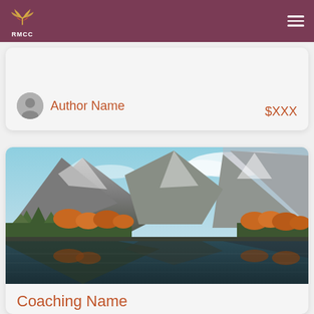RMCC
[Figure (other): Author avatar icon with name 'Author Name' and price '$XXX']
[Figure (photo): Mountain landscape with lake reflection, autumn trees, rocky peaks and blue sky]
Coaching Name
Coaching description